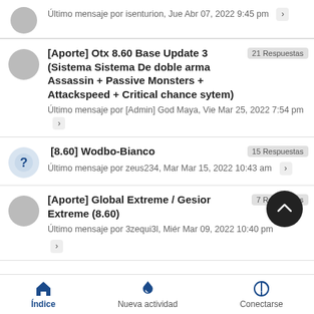Último mensaje por isenturion, Jue Abr 07, 2022 9:45 pm
[Aporte] Otx 8.60 Base Update 3 (Sistema Sistema De doble arma Assassin + Passive Monsters + Attackspeed + Critical chance sytem) — 21 Respuestas — Último mensaje por [Admin] God Maya, Vie Mar 25, 2022 7:54 pm
[8.60] Wodbo-Bianco — 15 Respuestas — Último mensaje por zeus234, Mar Mar 15, 2022 10:43 am
[Aporte] Global Extreme / Gesior Extreme (8.60) — 7 Respuestas — Último mensaje por 3zequi3l, Miér Mar 09, 2022 10:40 pm
Índice | Nueva actividad | Conectarse